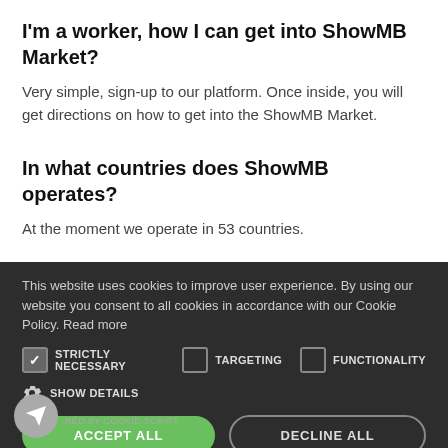I'm a worker, how I can get into ShowMB Market?
Very simple, sign-up to our platform. Once inside, you will get directions on how to get into the ShowMB Market.
In what countries does ShowMB operates?
At the moment we operate in 53 countries.
Can I hide my profile from the Directory?
This website uses cookies to improve user experience. By using our website you consent to all cookies in accordance with our Cookie Policy. Read more
STRICTLY NECESSARY  TARGETING  FUNCTIONALITY
SHOW DETAILS
ACCEPT ALL  DECLINE ALL
ERED BY COOKIE-SCRIPT